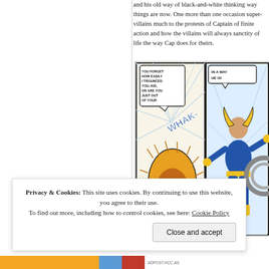and his old way of black-and-white thinking way things are now. One more than one occasion super-villains much to the protests of Captain of finite action and how the villains will always sanctity of life the way Cap does for theirs.
[Figure (illustration): Marvel comic book panels showing a fight scene. Left panel: speech bubble reading 'YOU FORGET HOW EASILY I TROUNCED YOU, KID, OR ARE YOU JUST OUT OF YOUR MIND?' with a character being struck (WHAK- sound effect), a yellow-furred creature attacking. Right panel: a superhero in blue and yellow costume flying or leaping.]
Privacy & Cookies: This site uses cookies. By continuing to use this website, you agree to their use.
To find out more, including how to control cookies, see here: Cookie Policy
Close and accept